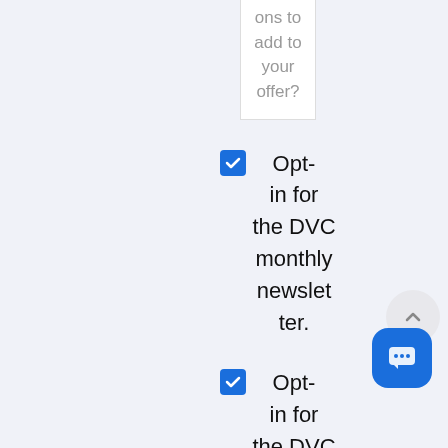ons to add to your offer?
☑ Opt-in for the DVC monthly newsletter.
☑ Opt-in for the DVC daily email notifier.
[Figure (other): Scroll-to-top button (arrow up) and chat button (speech bubble with dots)]